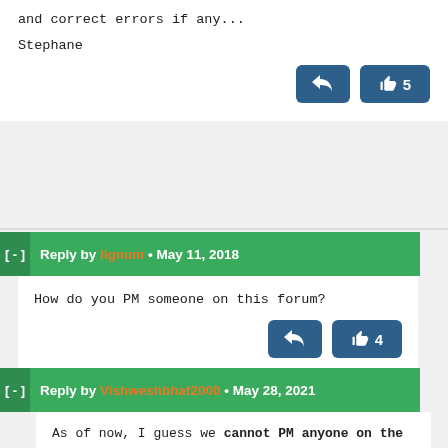and correct errors if any...
Stephane
Reply by lignum • May 11, 2018
How do you PM someone on this forum?
Reply by Vishweshbhat2000 • May 28, 2021
As of now, I guess we cannot PM anyone on the forum. We could approach them on Linkedin/Twitter(If the person has